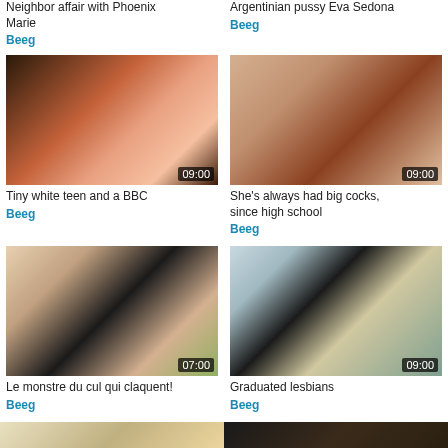Neighbor affair with Phoenix Marie
Beeg
Argentinian pussy Eva Sedona
Beeg
[Figure (photo): Video thumbnail with duration 09:00]
[Figure (photo): Video thumbnail with duration 09:00]
Tiny white teen and a BBC
Beeg
She's always had big cocks, since high school
Beeg
[Figure (photo): Video thumbnail with duration 07:00]
[Figure (photo): Video thumbnail with duration 09:00]
Le monstre du cul qui claquent!
Beeg
Graduated lesbians
Beeg
[Figure (photo): Bottom strip video thumbnail left]
[Figure (photo): Bottom strip video thumbnail right]